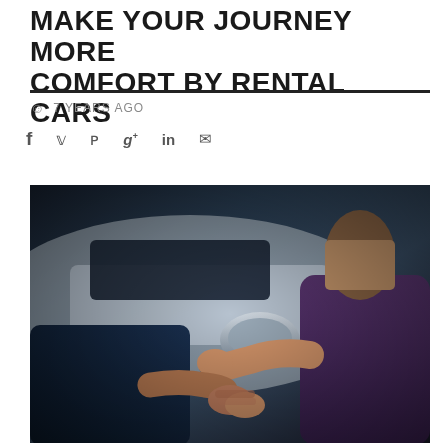MAKE YOUR JOURNEY MORE COMFORT BY RENTAL CARS
7 YEARS AGO
[Figure (photo): Two people shaking hands in front of a car, one person handing car keys to the other. Woman in purple top handing keys to man in blue suit jacket.]